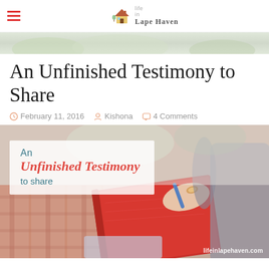Life in Lape Haven
An Unfinished Testimony to Share
February 11, 2016  Kishona  4 Comments
[Figure (photo): Woman writing in a red journal/notebook, with decorative text overlay reading 'An Unfinished Testimony to share' and watermark 'lifeinlapehaven.com']